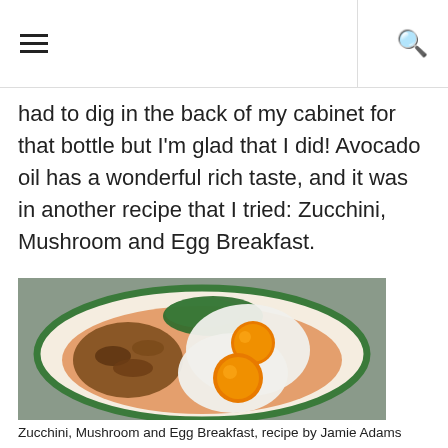≡  [search icon]
had to dig in the back of my cabinet for that bottle but I'm glad that I did! Avocado oil has a wonderful rich taste, and it was in another recipe that I tried: Zucchini, Mushroom and Egg Breakfast.
[Figure (photo): A white plate with a green rim holding two sunny-side-up fried eggs with bright orange yolks, sautéed zucchini and mushrooms, and fresh greens, on a grey textured background.]
Zucchini, Mushroom and Egg Breakfast, recipe by Jamie Adams